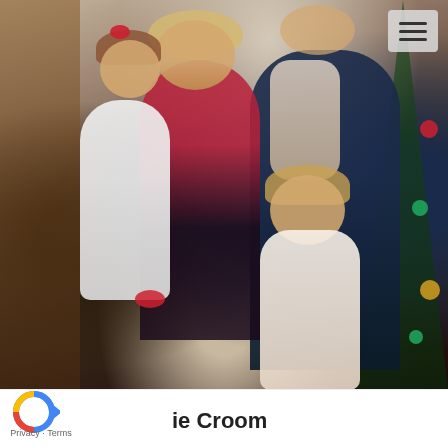[Figure (photo): A blurred family Christmas photo showing a woman in red holding a young girl in white with a red bow, a man in a navy suit, and a young boy in a white shirt with red trim, posing in front of a Christmas tree.]
Privacy · Terms
ie Croom